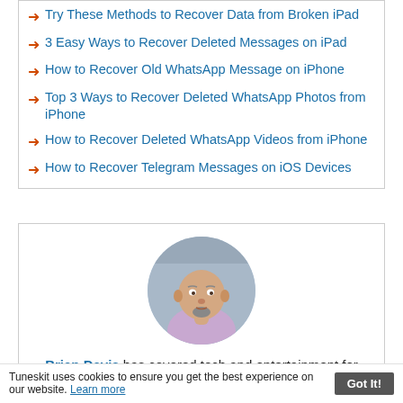Try These Methods to Recover Data from Broken iPad
3 Easy Ways to Recover Deleted Messages on iPad
How to Recover Old WhatsApp Message on iPhone
Top 3 Ways to Recover Deleted WhatsApp Photos from iPhone
How to Recover Deleted WhatsApp Videos from iPhone
How to Recover Telegram Messages on iOS Devices
[Figure (photo): Circular headshot of Brian Davis, a bald middle-aged man with a goatee, wearing a light purple shirt, with a blurred urban background.]
Brian Davis has covered tech and entertainment for over 10 years. He loves technology in all its forms.
Tuneskit uses cookies to ensure you get the best experience on our website. Learn more  Got It!